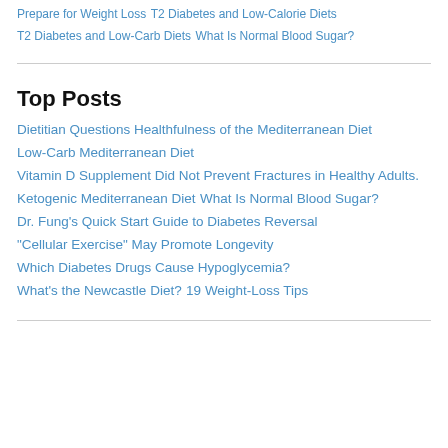Prepare for Weight Loss
T2 Diabetes and Low-Calorie Diets
T2 Diabetes and Low-Carb Diets
What Is Normal Blood Sugar?
Top Posts
Dietitian Questions Healthfulness of the Mediterranean Diet
Low-Carb Mediterranean Diet
Vitamin D Supplement Did Not Prevent Fractures in Healthy Adults.
Ketogenic Mediterranean Diet
What Is Normal Blood Sugar?
Dr. Fung's Quick Start Guide to Diabetes Reversal
"Cellular Exercise" May Promote Longevity
Which Diabetes Drugs Cause Hypoglycemia?
What's the Newcastle Diet?
19 Weight-Loss Tips